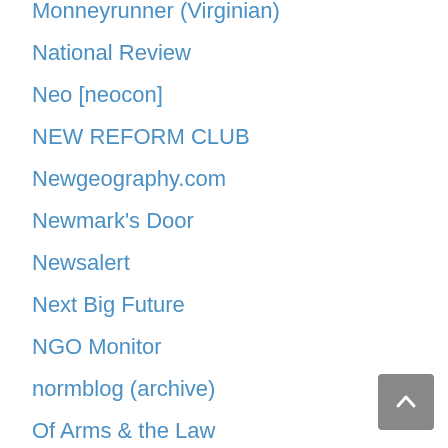Monneyrunner (Virginian)
National Review
Neo [neocon]
NEW REFORM CLUB
Newgeography.com
Newmark's Door
Newsalert
Next Big Future
NGO Monitor
normblog (archive)
Of Arms & the Law
Offshore Balancer
OilPrice.com
OpenMarket.org (CEI)